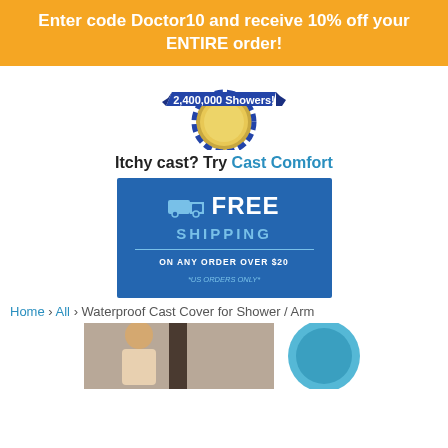Enter code Doctor10 and receive 10% off your ENTIRE order!
[Figure (illustration): Gold badge/seal with blue ribbon banner showing '2,400,000 Showers!']
Itchy cast? Try Cast Comfort
[Figure (infographic): Blue square banner showing a truck icon with FREE SHIPPING ON ANY ORDER OVER $20 *US ORDERS ONLY*]
Home › All › Waterproof Cast Cover for Shower / Arm
[Figure (photo): Photo of a person in a shower with a cast cover, plus a blue round product item partially visible on the right]